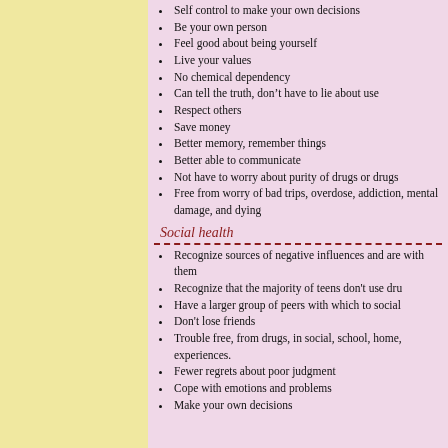Self control to make your own decisions
Be your own person
Feel good about being yourself
Live your values
No chemical dependency
Can tell the truth, don’t have to lie about use
Respect others
Save money
Better memory, remember things
Better able to communicate
Not have to worry about purity of drugs or drugs
Free from worry of bad trips, overdose, addiction, mental damage, and dying
Social health
Recognize sources of negative influences and are with them
Recognize that the majority of teens don't use dru
Have a larger group of peers with which to social
Don't lose friends
Trouble free, from drugs, in social, school, home, experiences.
Fewer regrets about poor judgment
Cope with emotions and problems
Make your own decisions